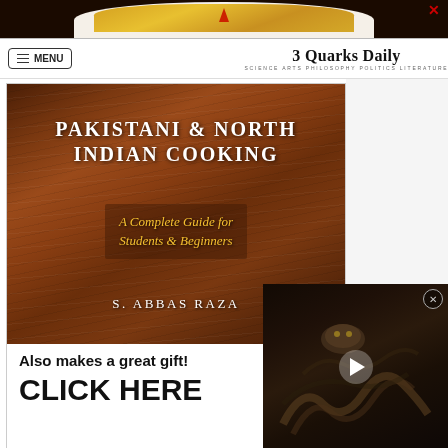[Figure (screenshot): Top partial food image showing yellow rice dish with red chili pepper in white bowl, cropped at top of page]
MENU | 3 Quarks Daily | SCIENCE ARTS PHILOSOPHY POLITICS LITERATURE
[Figure (photo): Book cover: PAKISTANI & NORTH INDIAN COOKING - A Complete Guide for Students & Beginners by S. Abbas Raza, displayed on a wooden background]
Also makes a great gift!
CLICK HERE
[Figure (screenshot): Video overlay thumbnail showing a dark image of what appears to be a snake or reptile with a play button, with a close (X) button in top right]